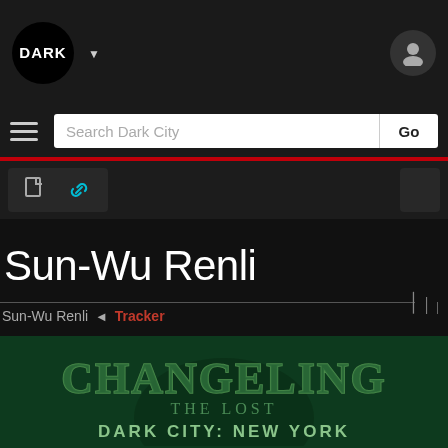DARK
Search Dark City
[Figure (screenshot): Tab icons row with document and link icons]
Sun-Wu Renli
Sun-Wu Renli ◄ Tracker
[Figure (logo): Changeling: The Lost - Dark City: New York game logo on dark green background]